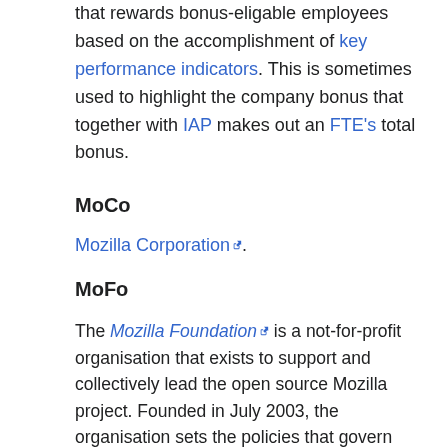that rewards bonus-eligable employees based on the accomplishment of key performance indicators. This is sometimes used to highlight the company bonus that together with IAP makes out an FTE's total bonus.
MoCo
Mozilla Corporation.
MoFo
The Mozilla Foundation is a not-for-profit organisation that exists to support and collectively lead the open source Mozilla project. Founded in July 2003, the organisation sets the policies that govern development, operates key infrastructure and controls Mozilla trademarks and copyrights.
MoMo
Mozilla Messaging
MPD
Short for Mozilla Product Discovery.